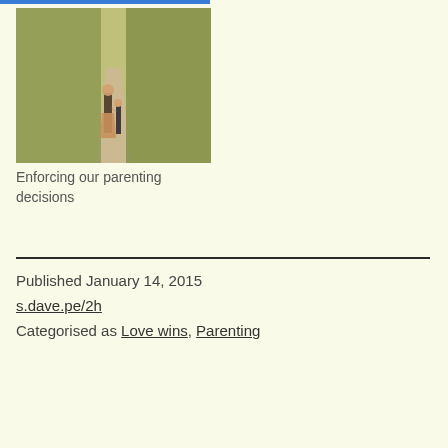[Figure (photo): A woman and young child walking hand-in-hand down a rural path or lane, surrounded by green vegetation and warm golden light]
Enforcing our parenting decisions
Published January 14, 2015
s.dave.pe/2h
Categorised as Love wins, Parenting